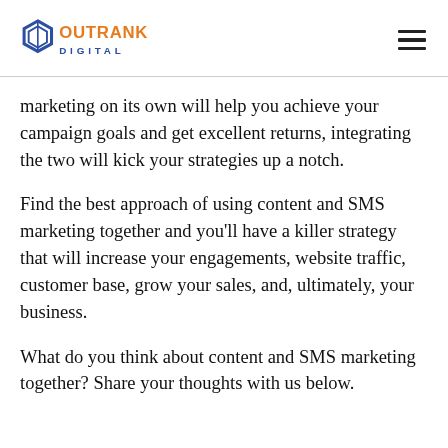Outrank Digital
marketing on its own will help you achieve your campaign goals and get excellent returns, integrating the two will kick your strategies up a notch.
Find the best approach of using content and SMS marketing together and you’ll have a killer strategy that will increase your engagements, website traffic, customer base, grow your sales, and, ultimately, your business.
What do you think about content and SMS marketing together? Share your thoughts with us below.